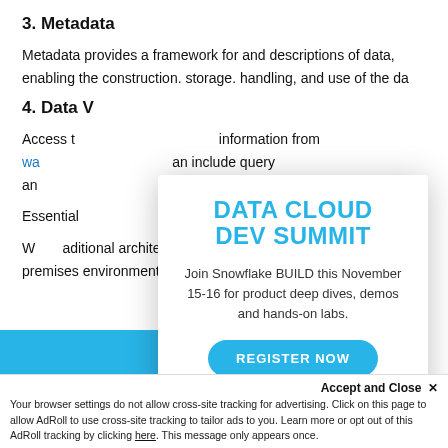3. Metadata
Metadata provides a framework for and descriptions of data, enabling the construction, storage, handling, and use of the da
4. Data W
Access t information from wa an include query an ent tools, data min
[Figure (infographic): DATA CLOUD DEV SUMMIT modal overlay. Title: DATA CLOUD DEV SUMMIT. Body: Join Snowflake BUILD this November 15-16 for product deep dives, demos and hands-on labs. Button: REGISTER NOW]
Essential architecture
W aditional architectures were designed and d for on-premises environments, mod optimize on the cloud.
Accept and Close ✕
Your browser settings do not allow cross-site tracking for advertising. Click on this page to allow AdRoll to use cross-site tracking to tailor ads to you. Learn more or opt out of this AdRoll tracking by clicking here. This message only appears once.